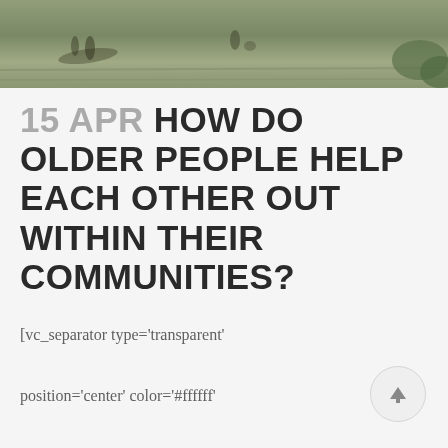[Figure (photo): Aerial or overhead view of people walking on grass, with shadows visible]
15 APR HOW DO OLDER PEOPLE HELP EACH OTHER OUT WITHIN THEIR COMMUNITIES?
[vc_separator type='transparent'

position='center' color='#ffffff'

thickness='6' up='' down='']

[vc_video

link='https://vimeo.com/313728186']

[vc_separator type='transparent'